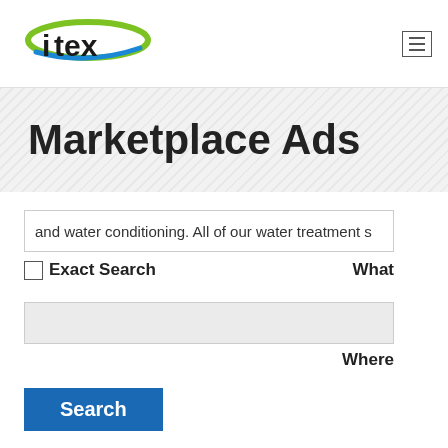[Figure (logo): ITEX logo with green oval and blue swoosh]
Marketplace Ads
and water conditioning. All of our water treatment s
Exact Search   What
Where
Search